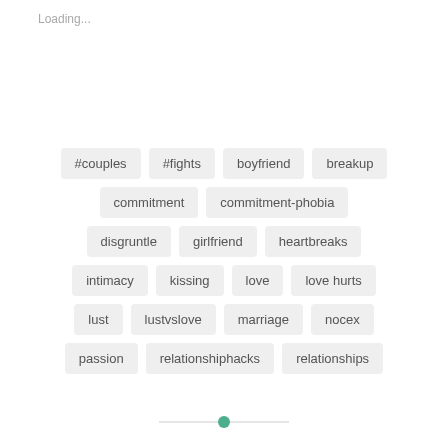Loading...
#couples
#fights
boyfriend
breakup
commitment
commitment-phobia
disgruntle
girlfriend
heartbreaks
intimacy
kissing
love
love hurts
lust
lustvslove
marriage
nосex
passion
relationshiphacks
relationships